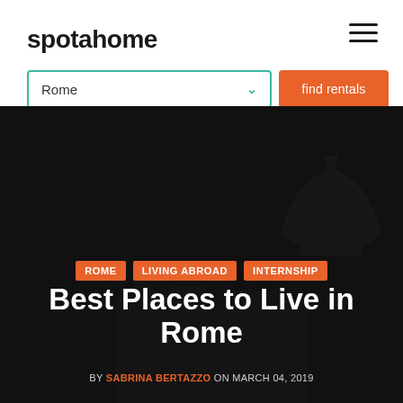spotahome
[Figure (screenshot): Spotahome website header with logo on left and hamburger menu icon on right]
Rome — find rentals
[Figure (photo): Dark nighttime photo of Rome skyline with dome silhouette visible on the right side]
ROME  LIVING ABROAD  INTERNSHIP
Best Places to Live in Rome
BY SABRINA BERTAZZO ON MARCH 04, 2019